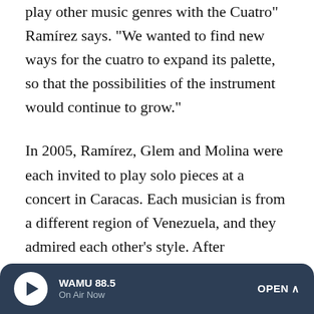play other music genres with the Cuatro" Ramírez says. "We wanted to find new ways for the cuatro to expand its palette, so that the possibilities of the instrument would continue to grow."
In 2005, Ramírez, Glem and Molina were each invited to play solo pieces at a concert in Caracas. Each musician is from a different region of Venezuela, and they admired each other's style. After rehearsing a few tunes together to play at the end of the concert, they liked the sound of the multiple cuatros so much that they decided to form a group. The following year, they recorded their first album and adopted C4 as their name, in reference both to the cuatro and the guitar group known as G3. Their self-titled album launched
WAMU 88.5 On Air Now OPEN